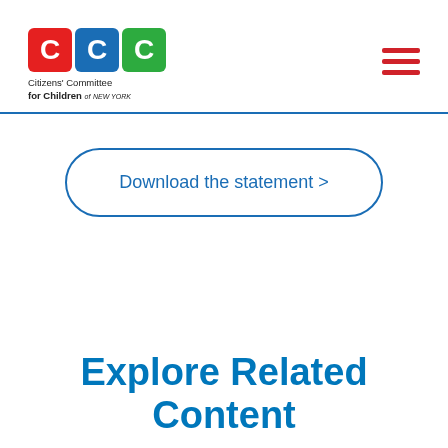Citizens' Committee for Children of New York
Download the statement >
Explore Related Content